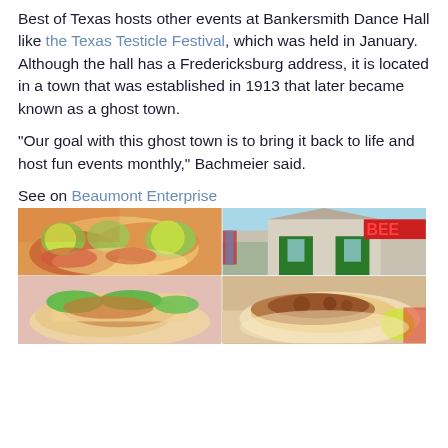Best of Texas hosts other events at Bankersmith Dance Hall like the Texas Testicle Festival, which was held in January. Although the hall has a Fredericksburg address, it is located in a town that was established in 1913 that later became known as a ghost town.
“Our goal with this ghost town is to bring it back to life and host fun events monthly,” Bachmeier said.
See on Beaumont Enterprise
[Figure (photo): Four-photo collage: top-left shows tacos in a bowl with lime wedges and pickled onions; top-right shows a rustic building exterior with a 'BEER' sign and green trim; bottom-left shows tacos with fresh herbs; bottom-right shows a taco with meat filling and a lime wedge.]